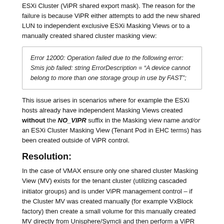ESXi Cluster (ViPR shared export mask). The reason for the failure is because ViPR either attempts to add the new shared LUN to independent exclusive ESXi Masking Views or to a manually created shared cluster masking view:
Error 12000: Operation failed due to the following error: Smis job failed: string ErrorDescription = "A device cannot belong to more than one storage group in use by FAST";
This issue arises in scenarios where for example the ESXi hosts already have independent Masking Views created without the NO_VIPR suffix in the Masking view name and/or an ESXi Cluster Masking View (Tenant Pod in EHC terms) has been created outside of ViPR control.
Resolution:
In the case of VMAX ensure only one shared cluster Masking View (MV) exists for the tenant cluster (utilizing cascaded initiator groups) and is under ViPR management control – if the Cluster MV was created manually (for example VxBlock factory) then create a small volume for this manually created MV directly from Unisphere/Symcli and then perform a ViPR ingestion of this newly created volume, this will result